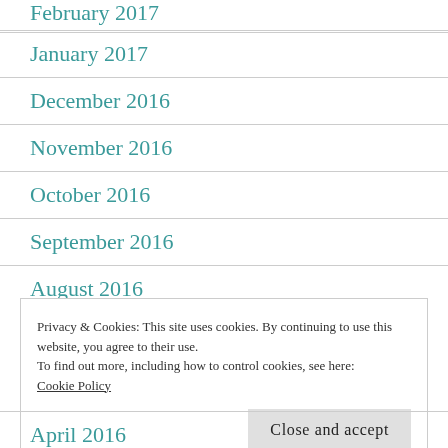February 2017
January 2017
December 2016
November 2016
October 2016
September 2016
August 2016
Privacy & Cookies: This site uses cookies. By continuing to use this website, you agree to their use.
To find out more, including how to control cookies, see here: Cookie Policy
April 2016